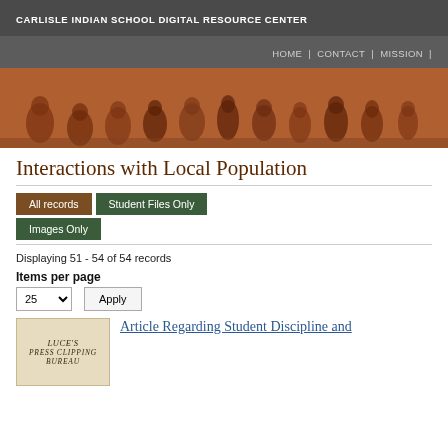CARLISLE INDIAN SCHOOL DIGITAL RESOURCE CENTER
HOME | CONTACT | MISSION |
[Figure (photo): Sepia-toned historical photograph of a group of Native American people seated and standing together]
Interactions with Local Population
All records  Student Files Only  Images Only
Displaying 51 - 54 of 54 records
Items per page
25 ▾   Apply
[Figure (photo): Thumbnail image of a Luce's Press Clipping Bureau document cover]
Article Regarding Student Discipline and